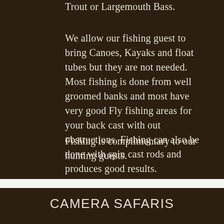Trout or Largemouth Bass.
We allow our fishing guest to bring Canoes, Kayaks and float tubes but they are not needed. Most fishing is done from well groomed banks and most have very good Fly fishing areas for your back cast with out obstructions. Fishing can also be done with spin cast rods and produces good results.
Fishing is complimentary to our hunting guests.
CAMERA SAFARIS